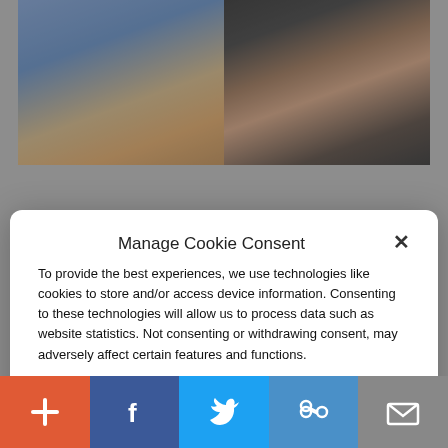[Figure (photo): Two photos side by side: left shows a person with light hair against a blue background, right shows a person with dark hair against a dark background]
Manage Cookie Consent
To provide the best experiences, we use technologies like cookies to store and/or access device information. Consenting to these technologies will allow us to process data such as website statistics. Not consenting or withdrawing consent, may adversely affect certain features and functions.
Accept
Cookie Policy  Privacy Policy
[Figure (photo): Partial photo visible at bottom showing people in a dark setting]
[Figure (infographic): Social sharing bar with plus, Facebook, Twitter, link, and email buttons]